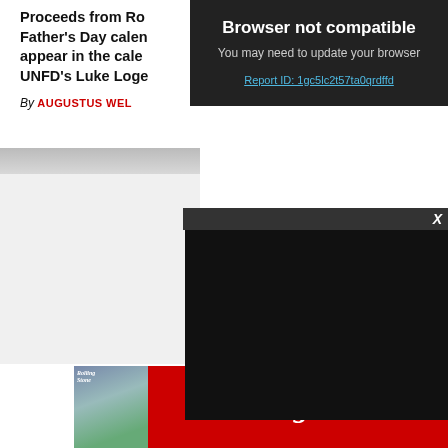Proceeds from Ro Father's Day calen appear in the cale UNFD's Luke Loge
By AUGUSTUS WEL
Browser not compatible
You may need to update your browser
Report ID: 1gc5lc2t57ta0qrdffd
[Figure (photo): Partially visible photograph with gray top strip, content obscured by overlapping video player]
[Figure (screenshot): Black video player overlay with dark header bar and X close button]
[Figure (logo): Rolling Stone advertisement banner with red background, magazine cover thumbnail, and RollingStone logo text in white italic serif font]